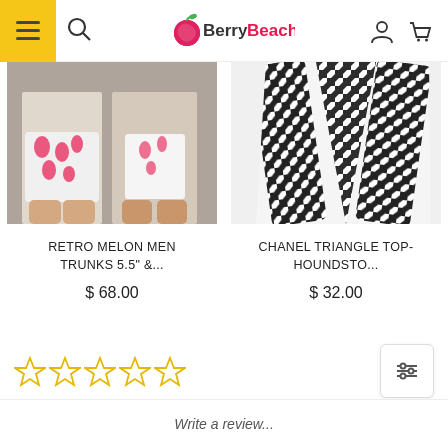Berry Beachy — navigation header with hamburger menu, search, logo, account and cart icons
[Figure (photo): Two people wearing retro melon print swimwear — men's trunks and women's bikini bottoms]
RETRO MELON MEN TRUNKS 5.5" &...
$ 68.00
[Figure (photo): Close-up of houndstooth patterned bikini triangle top straps in black and white]
CHANEL TRIANGLE TOP- HOUNDSTO...
$ 32.00
[Figure (other): Five empty star rating icons in gold outline]
Write a review...